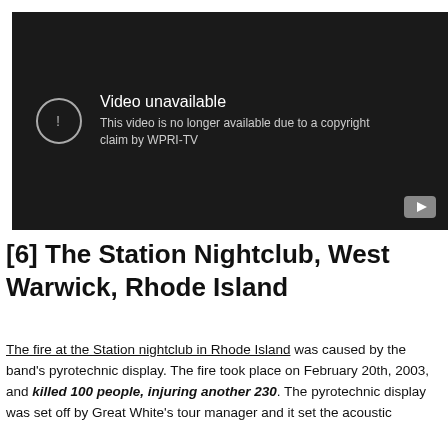[Figure (screenshot): YouTube video unavailable placeholder. Dark background with exclamation icon in circle, text 'Video unavailable' and 'This video is no longer available due to a copyright claim by WPRI-TV'. YouTube play button in bottom right corner.]
[6] The Station Nightclub, West Warwick, Rhode Island
The fire at the Station nightclub in Rhode Island was caused by the band's pyrotechnic display. The fire took place on February 20th, 2003, and killed 100 people, injuring another 230. The pyrotechnic display was set off by Great White's tour manager and it set the acoustic